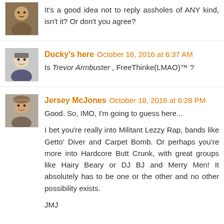It's a good idea not to reply assholes of ANY kind, isn't it? Or don't you agree?
Ducky's here  October 18, 2016 at 6:37 AM
Is Trevor Armbuster , FreeThinke(LMAO)™ ?
Jersey McJones  October 18, 2016 at 6:28 PM
Good. So, IMO, I'm going to guess here...

I bet you're really into Militant Lezzy Rap, bands like Getto' Diver and Carpet Bomb. Or perhaps you're more into Hardcore Butt Crunk, with great groups like Hairy Beary or DJ BJ and Merry Men! It absolutely has to be one or the other and no other possibility exists.

JMJ